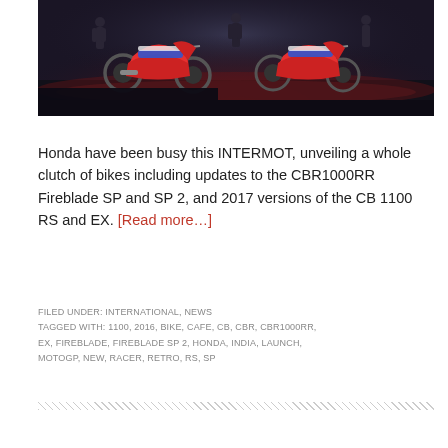[Figure (photo): Honda motorcycles on a dark stage with red ambient lighting at INTERMOT event. Two bikes visible — CBR1000RR Fireblade SP models — with people standing around them on a dark exhibition floor.]
Honda have been busy this INTERMOT, unveiling a whole clutch of bikes including updates to the CBR1000RR Fireblade SP and SP 2, and 2017 versions of the CB 1100 RS and EX. [Read more…]
FILED UNDER: INTERNATIONAL, NEWS
TAGGED WITH: 1100, 2016, BIKE, CAFE, CB, CBR, CBR1000RR, EX, FIREBLADE, FIREBLADE SP 2, HONDA, INDIA, LAUNCH, MOTOGP, NEW, RACER, RETRO, RS, SP